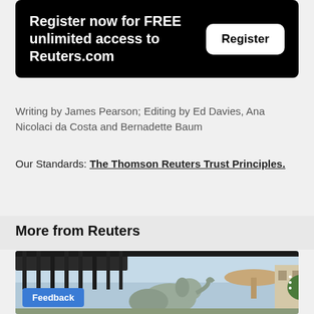[Figure (infographic): Black banner with white bold text: 'Register now for FREE unlimited access to Reuters.com' and a white rounded button labeled 'Register']
Writing by James Pearson; Editing by Ed Davies, Ana Nicolaci da Costa and Bernadette Baum
Our Standards: The Thomson Reuters Trust Principles.
More from Reuters
[Figure (photo): Photo of elephants or large animals near a structure, partially visible at bottom of page. Blue 'Feedback' button overlay in lower left.]